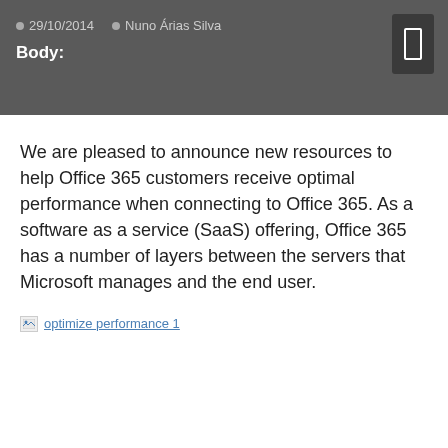29/10/2014   Nuno Árias Silva
Body:
We are pleased to announce new resources to help Office 365 customers receive optimal performance when connecting to Office 365. As a software as a service (SaaS) offering, Office 365 has a number of layers between the servers that Microsoft manages and the end user.
[Figure (other): Broken image placeholder with alt text 'optimize performance 1']